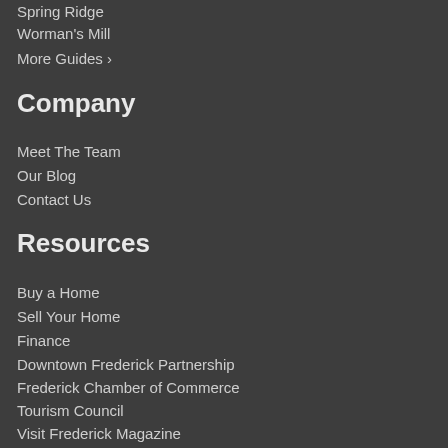Spring Ridge
Worman's Mill
More Guides >
Company
Meet The Team
Our Blog
Contact Us
Resources
Buy a Home
Sell Your Home
Finance
Downtown Frederick Partnership
Frederick Chamber of Commerce
Tourism Council
Visit Frederick Magazine
Get Social